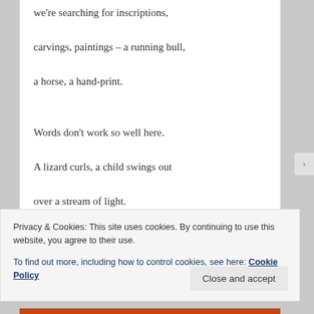we're searching for inscriptions,
carvings, paintings – a running bull,
a horse, a hand-print.
Words don't work so well here.
A lizard curls, a child swings out
over a stream of light.
Privacy & Cookies: This site uses cookies. By continuing to use this website, you agree to their use.
To find out more, including how to control cookies, see here: Cookie Policy